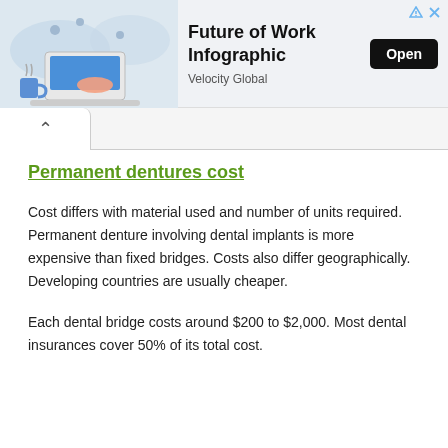[Figure (infographic): Advertisement banner showing a person using a laptop with a world map background. Title: Future of Work Infographic. Sponsor: Velocity Global. Open button on right. Ad icons (triangle and X) top right.]
Permanent dentures cost
Cost differs with material used and number of units required. Permanent denture involving dental implants is more expensive than fixed bridges. Costs also differ geographically. Developing countries are usually cheaper.
Each dental bridge costs around $200 to $2,000. Most dental insurances cover 50% of its total cost.